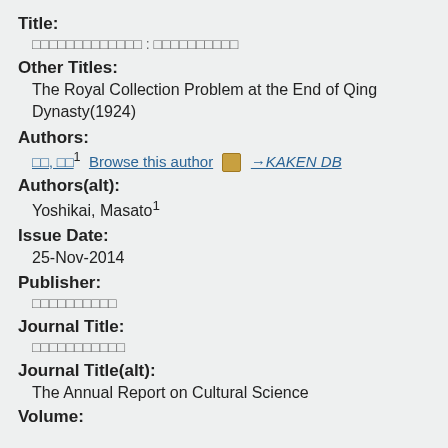Title:
□□□□□□□□□□□□□ : □□□□□□□□□□
Other Titles:
The Royal Collection Problem at the End of Qing Dynasty(1924)
Authors:
□□, □□¹ Browse this author → KAKEN DB
Authors(alt):
Yoshikai, Masato¹
Issue Date:
25-Nov-2014
Publisher:
□□□□□□□□□□
Journal Title:
□□□□□□□□□□□
Journal Title(alt):
The Annual Report on Cultural Science
Volume: